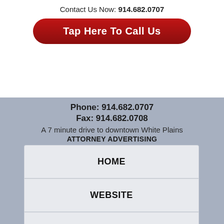Contact Us Now: 914.682.0707
Tap Here To Call Us
Phone: 914.682.0707
Fax: 914.682.0708
A 7 minute drive to downtown White Plains
ATTORNEY ADVERTISING
HOME
WEBSITE
DISCLAIMER
PRIVACY POLICY